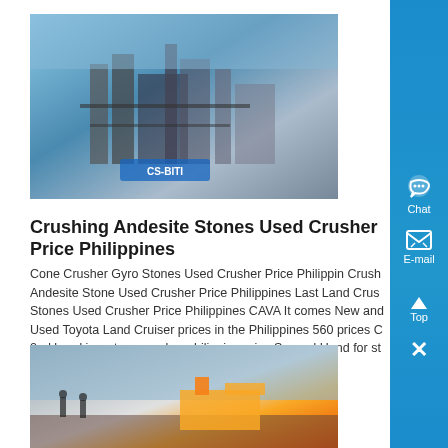[Figure (photo): Industrial crusher/cement plant machinery with steel structures and blue branding]
Crushing Andesite Stones Used Crusher Price Philippines
Cone Crusher Gyro Stones Used Crusher Price Philippin Crushing Andesite Stone Used Crusher Price Philippines Last Land Crusher Stones Used Crusher Price Philippines CAVA It comes New and Used Toyota Land Cruiser prices in the Philippines 560 prices C 2nd hand jaw stone crusher philippine price Second Hand for st Get Price Learn More...
Know More
[Figure (photo): Outdoor construction/mining equipment scene with workers and yellow machinery]